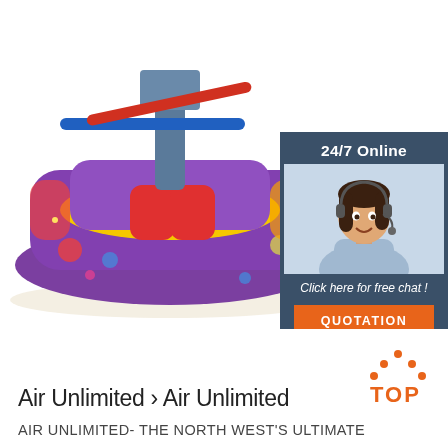[Figure (photo): Inflatable meltdown/wrecking ball arena with rotating padded arms and colorful purple/yellow/red inflatable base, space-themed design]
[Figure (infographic): 24/7 Online chat support box with dark teal background showing a smiling woman with headset, 'Click here for free chat!' text, and orange QUOTATION button]
Air Unlimited › Air Unlimited
[Figure (logo): TOP logo with orange dots forming a caret/arrow shape above the word TOP in orange]
AIR UNLIMITED- THE NORTH WEST'S ULTIMATE